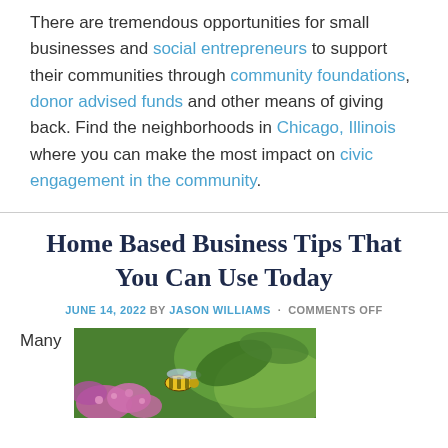There are tremendous opportunities for small businesses and social entrepreneurs to support their communities through community foundations, donor advised funds and other means of giving back. Find the neighborhoods in Chicago, Illinois where you can make the most impact on civic engagement in the community.
Home Based Business Tips That You Can Use Today
JUNE 14, 2022 BY JASON WILLIAMS · COMMENTS OFF
Many
[Figure (photo): Close-up photo of a bee on pink flowers with green background]